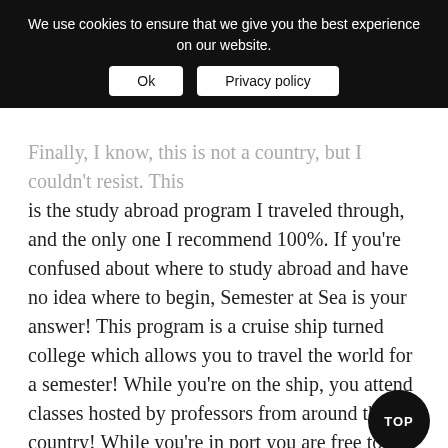We use cookies to ensure that we give you the best experience on our website. Ok | Privacy policy
Finally, I know, this is not a country, but I couldn't resist. This is the study abroad program I traveled through, and the only one I recommend 100%. If you're confused about where to study abroad and have no idea where to begin, Semester at Sea is your answer! This program is a cruise ship turned college which allows you to travel the world for a semester! While you're on the ship, you attend classes hosted by professors from around the country! While you're in port you are free to explore!
Why it's great: You get to see between 12-17 countries in just a few months while keeping up with your college courses! You get immersed in a community of like-minded travelers from universities around the world. These